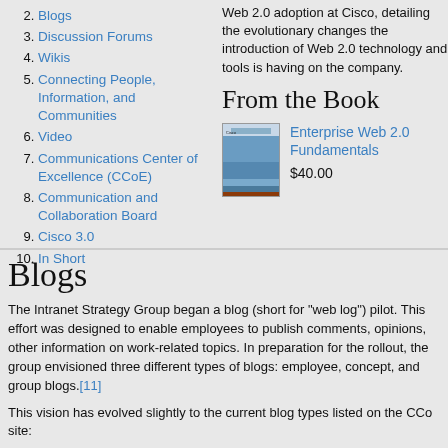2. Blogs
3. Discussion Forums
4. Wikis
5. Connecting People, Information, and Communities
6. Video
7. Communications Center of Excellence (CCoE)
8. Communication and Collaboration Board
9. Cisco 3.0
10. In Short
Web 2.0 adoption at Cisco, detailing the evolutionary changes the introduction of Web 2.0 technology and tools is having on the company.
From the Book
[Figure (photo): Book cover for Enterprise Web 2.0 Fundamentals showing a bridge image]
Enterprise Web 2.0 Fundamentals
$40.00
Blogs
The Intranet Strategy Group began a blog (short for “web log”) pilot. This effort was designed to enable employees to publish comments, opinions, other information on work-related topics. In preparation for the rollout, the group envisioned three different types of blogs: employee, concept, and group blogs.[11]
This vision has evolved slightly to the current blog types listed on the CCo site:
Personal Blog: Enable employees to publish a personal journal